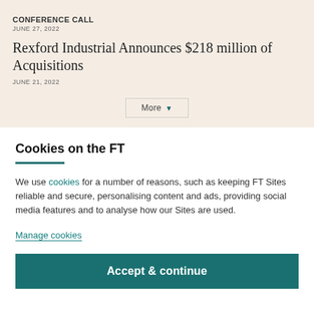CONFERENCE CALL
JUNE 27, 2022
Rexford Industrial Announces $218 million of Acquisitions
JUNE 21, 2022
More ▼
Cookies on the FT
We use cookies for a number of reasons, such as keeping FT Sites reliable and secure, personalising content and ads, providing social media features and to analyse how our Sites are used.
Manage cookies
Accept & continue